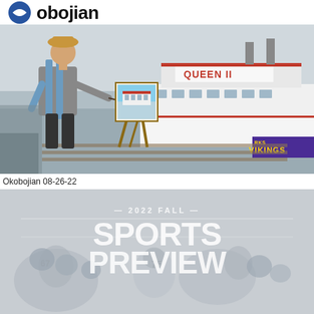[Figure (photo): Newspaper front page showing an artist painting a portrait of the Queen II riverboat, with the Okobojian newspaper masthead visible at the top. A Vikings banner is visible in the background.]
Okobojian 08-26-22
[Figure (photo): 2022 Fall Sports Preview cover image showing football players in action, with large bold white text reading '2022 FALL SPORTS PREVIEW' overlaid on a faded action photo.]